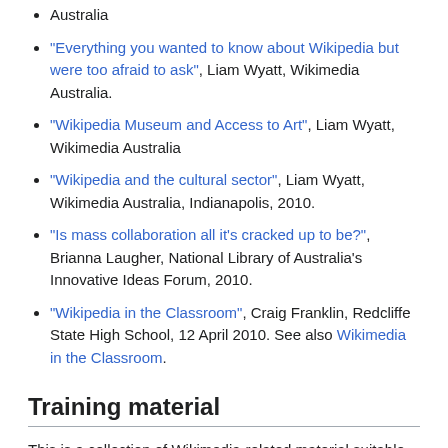Australia
"Everything you wanted to know about Wikipedia but were too afraid to ask", Liam Wyatt, Wikimedia Australia.
"Wikipedia Museum and Access to Art", Liam Wyatt, Wikimedia Australia
"Wikipedia and the cultural sector", Liam Wyatt, Wikimedia Australia, Indianapolis, 2010.
"Is mass collaboration all it's cracked up to be?", Brianna Laugher, National Library of Australia's Innovative Ideas Forum, 2010.
"Wikipedia in the Classroom", Craig Franklin, Redcliffe State High School, 12 April 2010. See also Wikimedia in the Classroom.
Training material
This is a collection of Wikimedia-related material suitable for using in training programs.